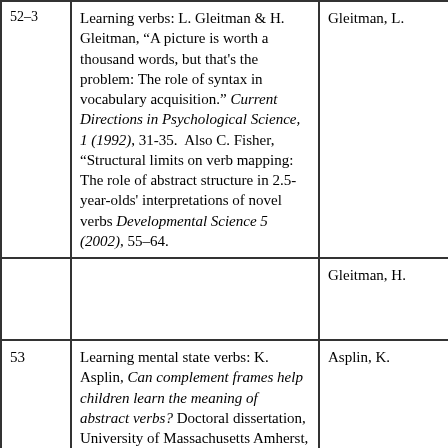| # | Description | Author |
| --- | --- | --- |
| 52–3 (cont.) | Learning verbs: L. Gleitman & H. Gleitman, "A picture is worth a thousand words, but that's the problem: The role of syntax in vocabulary acquisition." Current Directions in Psychological Science, 1 (1992), 31-35. Also C. Fisher, "Structural limits on verb mapping: The role of abstract structure in 2.5-year-olds' interpretations of novel verbs Developmental Science 5 (2002), 55–64. | Gleitman, L. |
|  |  | Gleitman, H. |
| 53 | Learning mental state verbs: K. Asplin, Can complement frames help children learn the meaning of abstract verbs? Doctoral dissertation, University of Massachusetts Amherst, 2002. | Asplin, K. |
|  |  |  |